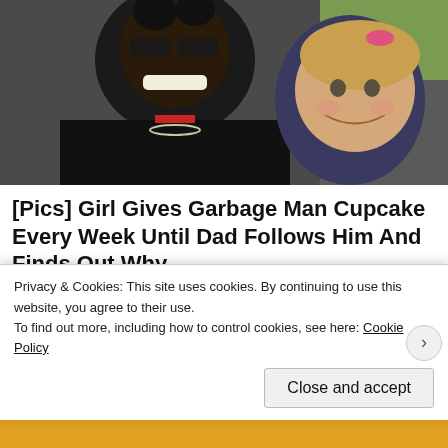[Figure (photo): A man with a beard smiling broadly, wearing a black jacket, with a young blonde girl smiling beside him outdoors.]
[Pics] Girl Gives Garbage Man Cupcake Every Week Until Dad Follows Him And Finds Out Why
HealthyGem
[Figure (photo): Thumbnail image of a sign reading WELCOME TO MARINE CORPS BASE CAMP LEJEUNE with red and orange/yellow background.]
Stationed at Camp Lejeune before 1988? Learn...
Privacy & Cookies: This site uses cookies. By continuing to use this website, you agree to their use.
To find out more, including how to control cookies, see here: Cookie Policy
Close and accept